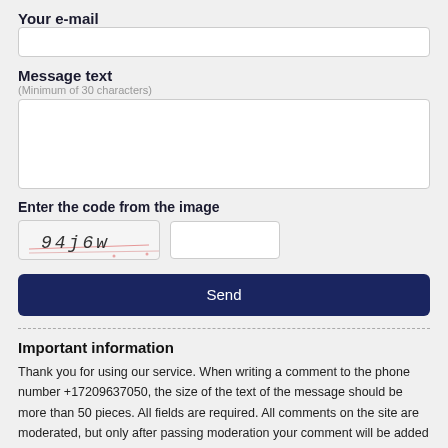Your e-mail
[Figure (screenshot): Empty text input field for e-mail]
Message text
(Minimum of 30 characters)
[Figure (screenshot): Large empty textarea for message text with resize handle]
Enter the code from the image
[Figure (screenshot): CAPTCHA image showing '94j6w' with distortion lines and an empty input field next to it]
[Figure (screenshot): Dark navy blue Send button]
Important information
Thank you for using our service. When writing a comment to the phone number +17209637050, the size of the text of the message should be more than 50 pieces. All fields are required. All comments on the site are moderated, but only after passing moderation your comment will be added to the site. All comments on the site are added by users and the